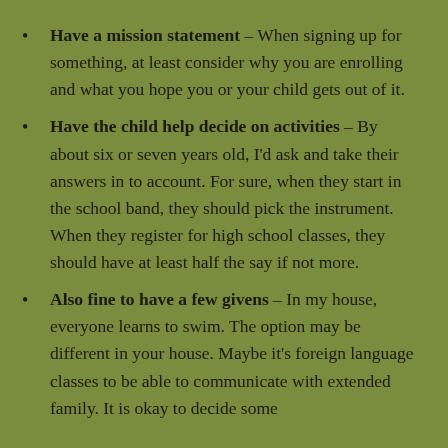Have a mission statement – When signing up for something, at least consider why you are enrolling and what you hope you or your child gets out of it.
Have the child help decide on activities – By about six or seven years old, I'd ask and take their answers in to account. For sure, when they start in the school band, they should pick the instrument. When they register for high school classes, they should have at least half the say if not more.
Also fine to have a few givens – In my house, everyone learns to swim. The option may be different in your house. Maybe it's foreign language classes to be able to communicate with extended family. It is okay to decide some